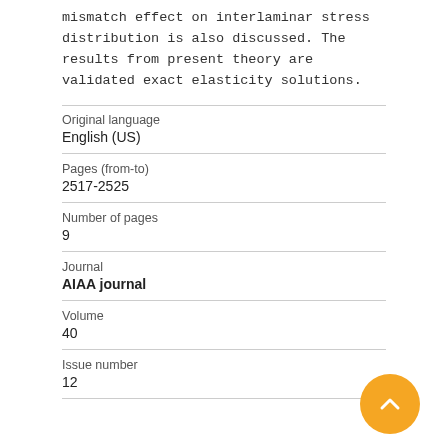mismatch effect on interlaminar stress distribution is also discussed. The results from present theory are validated exact elasticity solutions.
| Original language | English (US) |
| Pages (from-to) | 2517-2525 |
| Number of pages | 9 |
| Journal | AIAA journal |
| Volume | 40 |
| Issue number | 12 |